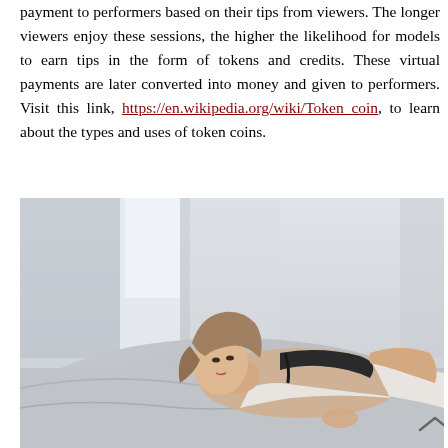payment to performers based on their tips from viewers. The longer viewers enjoy these sessions, the higher the likelihood for models to earn tips in the form of tokens and credits. These virtual payments are later converted into money and given to performers. Visit this link, https://en.wikipedia.org/wiki/Token_coin, to learn about the types and uses of token coins.
[Figure (photo): A young woman lying on a bed, looking at the camera, wearing a black top and white clothing, with light coming from windows in the background.]